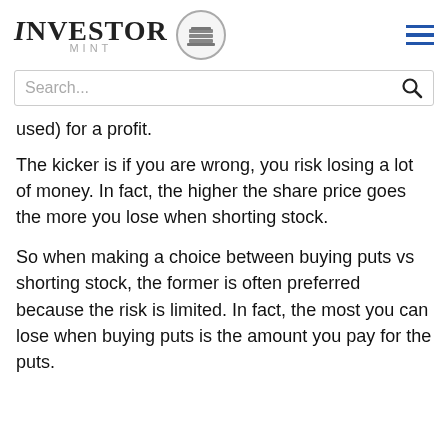INVESTOR MINT
used) for a profit.
The kicker is if you are wrong, you risk losing a lot of money. In fact, the higher the share price goes the more you lose when shorting stock.
So when making a choice between buying puts vs shorting stock, the former is often preferred because the risk is limited. In fact, the most you can lose when buying puts is the amount you pay for the puts.